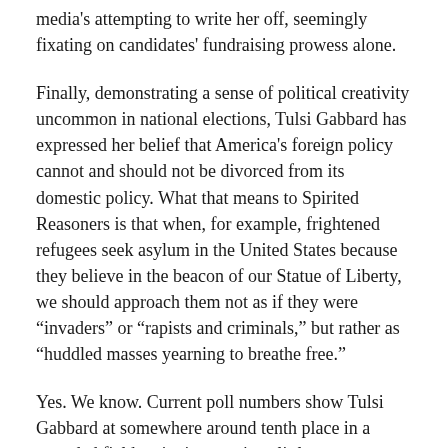media's attempting to write her off, seemingly fixating on candidates' fundraising prowess alone.
Finally, demonstrating a sense of political creativity uncommon in national elections, Tulsi Gabbard has expressed her belief that America's foreign policy cannot and should not be divorced from its domestic policy. What that means to Spirited Reasoners is that when, for example, frightened refugees seek asylum in the United States because they believe in the beacon of our Statue of Liberty, we should approach them not as if they were “invaders” or “rapists and criminals,” but rather as “huddled masses yearning to breathe free.”
Yes. We know. Current poll numbers show Tulsi Gabbard at somewhere around tenth place in a crowded field, enjoying precious little name recognition.
But you know what? Iowans don’t caucus until January.